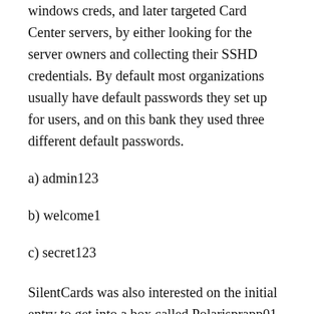windows creds, and later targeted Card Center servers, by either looking for the server owners and collecting their SSHD credentials. By default most organizations usually have default passwords they set up for users, and on this bank they used three different default passwords.
a) admin123
b) welcome1
c) secret123
SilentCards was also interested on the initial entry to get into a box called Polarisprapp01 and Eqs_VC01. Using these two servers, just like